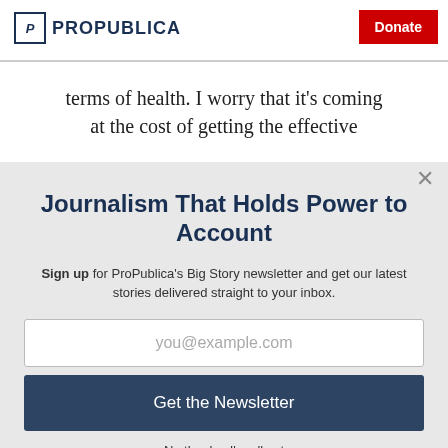ProPublica | Donate
terms of health. I worry that it's coming at the cost of getting the effective
Journalism That Holds Power to Account
Sign up for ProPublica's Big Story newsletter and get our latest stories delivered straight to your inbox.
you@example.com
Get the Newsletter
No thanks, I'm all set
This site is protected by reCAPTCHA and the Google Privacy Policy and Terms of Service apply.